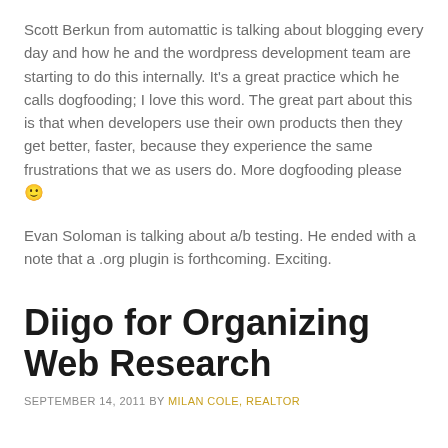Scott Berkun from automattic is talking about blogging every day and how he and the wordpress development team are starting to do this internally. It's a great practice which he calls dogfooding; I love this word. The great part about this is that when developers use their own products then they get better, faster, because they experience the same frustrations that we as users do. More dogfooding please 🙂
Evan Soloman is talking about a/b testing. He ended with a note that a .org plugin is forthcoming. Exciting.
Diigo for Organizing Web Research
SEPTEMBER 14, 2011 BY MILAN COLE, REALTOR